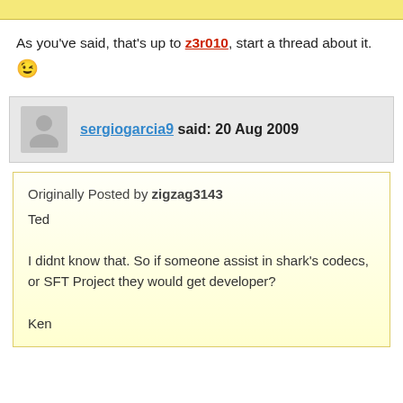As you've said, that's up to z3r010, start a thread about it. 😉
sergiogarcia9 said: 20 Aug 2009
Originally Posted by zigzag3143
Ted

I didnt know that. So if someone assist in shark's codecs, or SFT Project they would get developer?

Ken